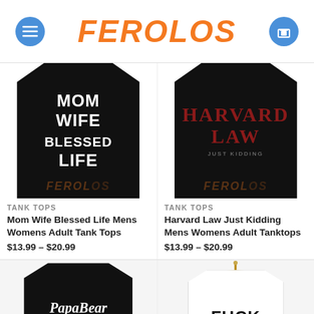FEROLOS
[Figure (photo): Black tank top with text: MOM WIFE BLESSED LIFE]
TANK TOPS
Mom Wife Blessed Life Mens Womens Adult Tank Tops
$13.99 – $20.99
[Figure (photo): Black tank top with text: HARVARD LAW]
TANK TOPS
Harvard Law Just Kidding Mens Womens Adult Tanktops
$13.99 – $20.99
[Figure (photo): Black tank top with text: PapaBear SINCE 2015]
[Figure (photo): White tank top on hanger with text: FUCK]